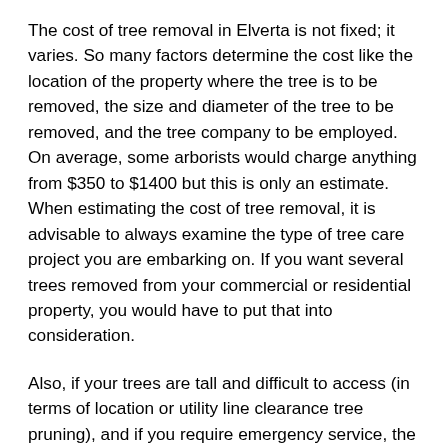The cost of tree removal in Elverta is not fixed; it varies. So many factors determine the cost like the location of the property where the tree is to be removed, the size and diameter of the tree to be removed, and the tree company to be employed. On average, some arborists would charge anything from $350 to $1400 but this is only an estimate. When estimating the cost of tree removal, it is advisable to always examine the type of tree care project you are embarking on. If you want several trees removed from your commercial or residential property, you would have to put that into consideration.
Also, if your trees are tall and difficult to access (in terms of location or utility line clearance tree pruning), and if you require emergency service, the price you would have to pay would definitely be higher. When the tree is also in a good or healthy state, it becomes more difficult to remove than dead trees. This is why most tree companies prefer to physically assess the tree and its surrounding area before estimates are given. So, estimating or calculating the cost of tree removal services in Elverta without taking note of these would be inaccurate.